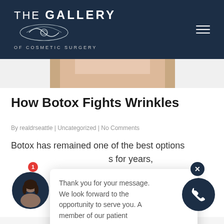[Figure (logo): The Gallery of Cosmetic Surgery logo with decorative swirl on dark navy background with hamburger menu icon]
[Figure (photo): Cropped photo of a person's face/skin area, partial view at top of article]
How Botox Fights Wrinkles
By realdrseattle | Uncategorized | No Comments
Botox has remained one of the best options for years, in Seattle , take very ce minimal earance o nkles, and prevent them from becoming se.
[Figure (screenshot): Chat popup overlay with message: Thank you for your message. We look forward to the opportunity to serve you. A member of our patient care... with close X button and chat avatar with badge and phone button]